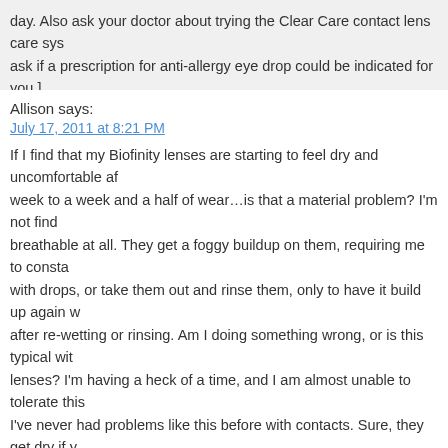day. Also ask your doctor about trying the Clear Care contact lens care system. Also ask if a prescription for anti-allergy eye drop could be indicated for you.]
Allison says:
July 17, 2011 at 8:21 PM
If I find that my Biofinity lenses are starting to feel dry and uncomfortable after a week to a week and a half of wear…is that a material problem? I'm not finding them breathable at all. They get a foggy buildup on them, requiring me to constantly rewet with drops, or take them out and rinse them, only to have it build up again very shortly after re-wetting or rinsing. Am I doing something wrong, or is this typical with these lenses? I'm having a heck of a time, and I am almost unable to tolerate this pair. I've never had problems like this before with contacts. Sure, they get dry if you wear them all day long or once they start to reach the end of their wear-life…but I've started having trouble only a week in. I am having to change them much more often than necessary, which is frustrating because they're expensive! Any feedback would be great…I want to call my eye doctor about changing lenses, but I'd like to have an idea what would be better for me before I call them. 🙂 Thanks!